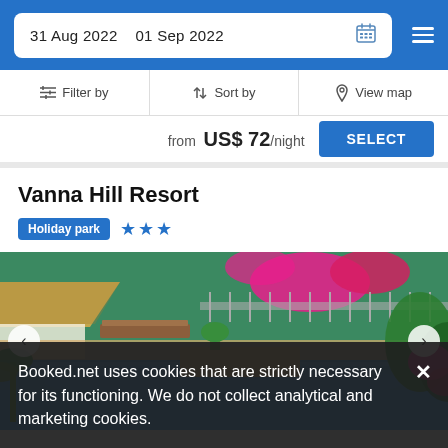31 Aug 2022  01 Sep 2022
Filter by  |  Sort by  |  View map
from us$ 72/night  SELECT
Vanna Hill Resort
Holiday park  ★★★
[Figure (photo): Outdoor swimming pool of Vanna Hill Resort surrounded by tropical plants, pink flowers (bougainvillea), thatched-roof bungalows, and wooden sun loungers.]
Booked.net uses cookies that are strictly necessary for its functioning. We do not collect analytical and marketing cookies.